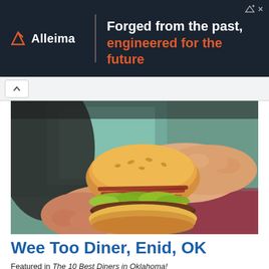[Figure (other): Alleima advertisement banner: dark navy background with Alleima logo on left, vertical divider, tagline 'Forged from the past, engineered for the future' with second line in orange]
[Figure (photo): Close-up photo of two hands holding a large hamburger with lettuce, cheese, bacon, and sesame seed bun, shot near a window with blurred background]
Wee Too Diner, Enid, OK
Featured in The 10 Best Diners in Oklahoma!